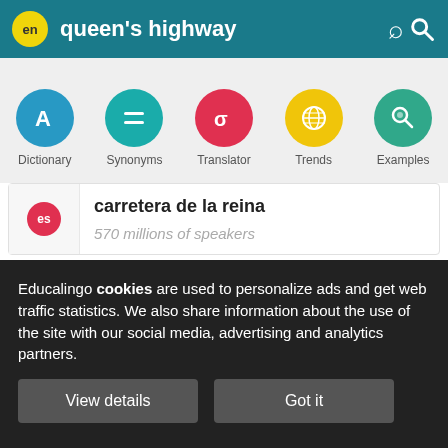en queen's highway
[Figure (screenshot): Navigation icons row: Dictionary (blue A), Synonyms (teal equals), Translator (red sigma), Trends (yellow globe), Examples (green magnifier)]
carretera de la reina
570 millions of speakers
English
queen´s highway
Educalingo cookies are used to personalize ads and get web traffic statistics. We also share information about the use of the site with our social media, advertising and analytics partners.
View details
Got it